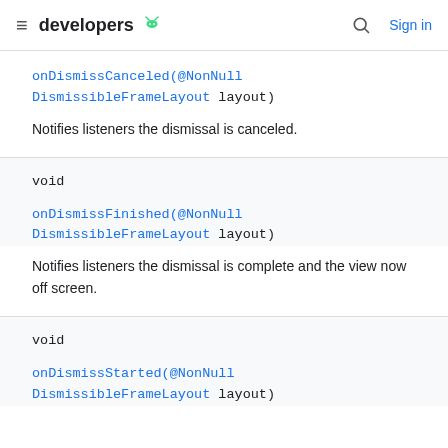developers [android logo] | Sign in
onDismissCanceled(@NonNull DismissibleFrameLayout layout)
Notifies listeners the dismissal is canceled.
void
onDismissFinished(@NonNull DismissibleFrameLayout layout)
Notifies listeners the dismissal is complete and the view now off screen.
void
onDismissStarted(@NonNull DismissibleFrameLayout layout)